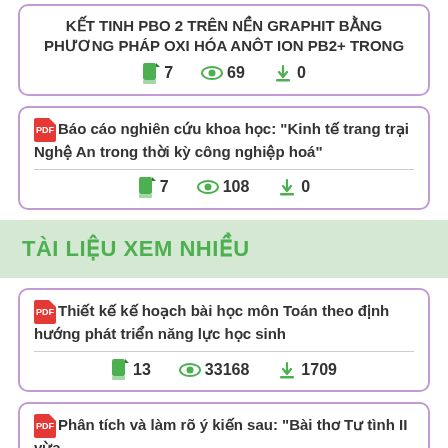KẾT TINH PBO 2 TRÊN NỀN GRAPHIT BẰNG PHƯƠNG PHÁP OXI HÓA ANÔT ION PB2+ TRONG
7 pages · 69 views · 0 downloads
Báo cáo nghiên cứu khoa học: "Kinh tế trang trại Nghệ An trong thời kỳ công nghiệp hoá"
7 pages · 108 views · 0 downloads
TÀI LIỆU XEM NHIỀU
Thiết kế kế hoạch bài học môn Toán theo định hướng phát triển năng lực học sinh
13 pages · 33168 views · 1709 downloads
Phân tích và làm rõ ý kiến sau: "Bài thơ Tư tình II vừa